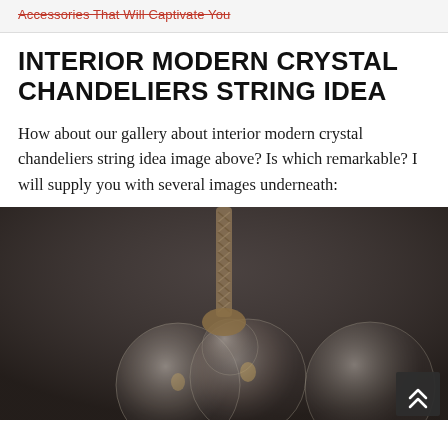Accessories That Will Captivate You
INTERIOR MODERN CRYSTAL CHANDELIERS STRING IDEA
How about our gallery about interior modern crystal chandeliers string idea image above? Is which remarkable? I will supply you with several images underneath:
[Figure (photo): A modern chandelier with globe-shaped glass bulbs hanging from a twisted rope/braided cord against a dark background]